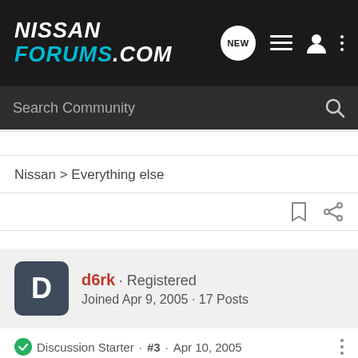NISSAN FORUMS.COM
Search Community
Nissan > Everything else
d6rk · Registered
Joined Apr 9, 2005 · 17 Posts
Discussion Starter · #3 · Apr 10, 2005
I was just curious. I didn't know if there was a company that sold a conversion kit for that or not. I want to build a nice 240 without getting in over my head. I'll start off with the sr20 and go from there. Thanks for the input.